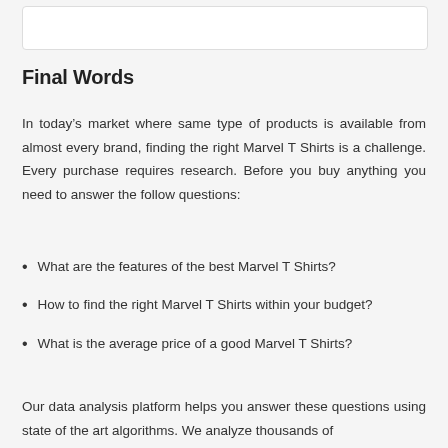Final Words
In today’s market where same type of products is available from almost every brand, finding the right Marvel T Shirts is a challenge. Every purchase requires research. Before you buy anything you need to answer the follow questions:
What are the features of the best Marvel T Shirts?
How to find the right Marvel T Shirts within your budget?
What is the average price of a good Marvel T Shirts?
Our data analysis platform helps you answer these questions using state of the art algorithms. We analyze thousands of